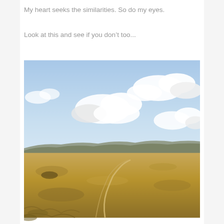My heart seeks the similarities. So do my eyes.
Look at this and see if you don’t too...
[Figure (photo): A wide open arid landscape with golden-brown plains and rolling low hills in the distance under a large sky filled with white puffy clouds and patches of blue. A winding dirt path curves through the foreground across the dry grassland.]